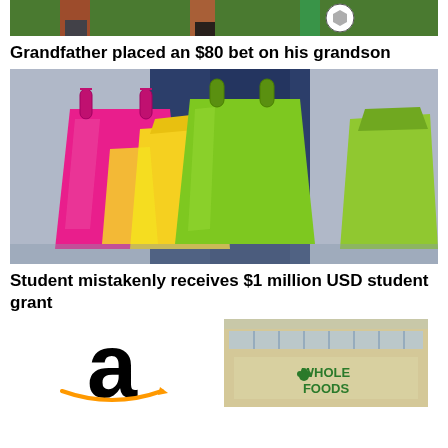[Figure (photo): Top portion of soccer/football action photo showing players' feet and a ball on grass]
Grandfather placed an $80 bet on his grandson
[Figure (photo): Person holding multiple colorful shopping bags (pink, green, yellow) while wearing jeans]
Student mistakenly receives $1 million USD student grant
[Figure (photo): Amazon logo (lowercase 'a' with arrow) on white background]
[Figure (photo): Whole Foods Market store exterior sign on building]